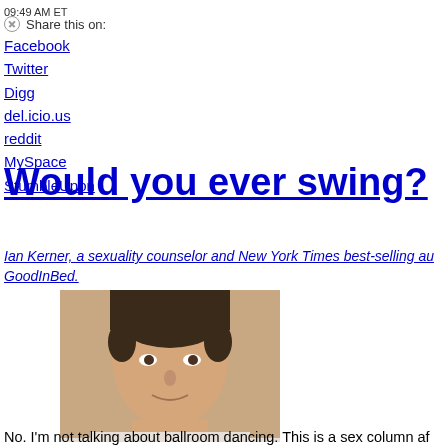09:49 AM ET
Share this on:
Facebook
Twitter
Digg
del.icio.us
reddit
MySpace
StumbleUpon
Would you ever swing?
Ian Kerner, a sexuality counselor and New York Times best-selling au... GoodInBed.
[Figure (photo): Headshot of a man (Ian Kerner) with short dark hair, wearing a light-colored shirt, cropped at the shoulders, looking forward.]
No. I'm not talking about ballroom dancing. This is a sex column af...